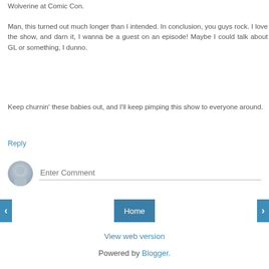Wolverine at Comic Con.
Man, this turned out much longer than I intended. In conclusion, you guys rock. I love the show, and darn it, I wanna be a guest on an episode! Maybe I could talk about GL or something, I dunno.
Keep churnin' these babies out, and I'll keep pimping this show to everyone around.
Reply
[Figure (other): User avatar icon for comment input area]
Enter Comment
Home
View web version
Powered by Blogger.